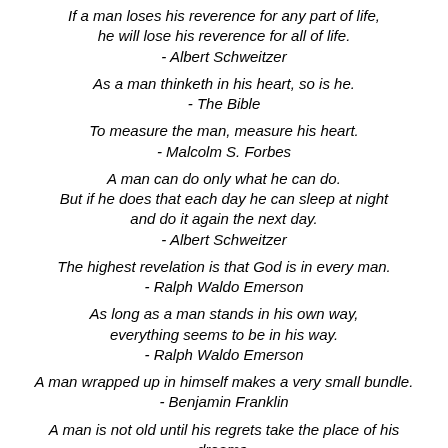If a man loses his reverence for any part of life, he will lose his reverence for all of life. - Albert Schweitzer
As a man thinketh in his heart, so is he. - The Bible
To measure the man, measure his heart. - Malcolm S. Forbes
A man can do only what he can do. But if he does that each day he can sleep at night and do it again the next day. - Albert Schweitzer
The highest revelation is that God is in every man. - Ralph Waldo Emerson
As long as a man stands in his own way, everything seems to be in his way. - Ralph Waldo Emerson
A man wrapped up in himself makes a very small bundle. - Benjamin Franklin
A man is not old until his regrets take the place of his dreams.